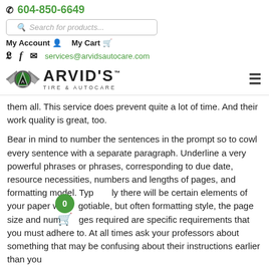604-850-6649
Search for products...
My Account  My Cart
services@arvidsautocare.com
[Figure (logo): Arvid's Tire & Autocare logo with wings emblem]
them all. This service does prevent quite a lot of time. And their work quality is great, too.
Bear in mind to number the sentences in the prompt so to cowl every sentence with a separate paragraph. Underline a very powerful phrases or phrases, corresponding to due date, resource necessities, numbers and lengths of pages, and formatting model. Typically there will be certain elements of your paper which are negotiable, but often formatting style, the page size and number of pages required are specific requirements that you must adhere to. At all times ask your professors about something that may be confusing about their instructions earlier than you